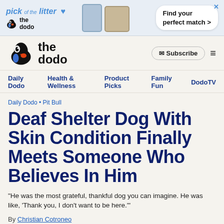[Figure (screenshot): The Dodo advertisement banner: 'pick of the litter' with phone and dog images and 'Find your perfect match >' button]
[Figure (logo): The Dodo logo with toucan bird icon and bold text 'the dodo']
Daily Dodo  Health & Wellness  Product Picks  Family Fun  DodoTV
Daily Dodo • Pit Bull
Deaf Shelter Dog With Skin Condition Finally Meets Someone Who Believes In Him
"He was the most grateful, thankful dog you can imagine. He was like, 'Thank you, I don't want to be here.'"
By Christian Cotroneo
Published on 2/17/2017 at 3:42 PM